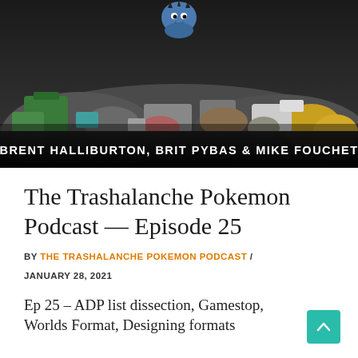[Figure (photo): Podcast cover image showing a pile of garbage/trash in dark tones with a cartoon character at the top center, and a dark banner at the bottom reading 'BRENT HALLIBURTON, BRIT PYBAS & MIKE FOUCHET' in bold white and orange text.]
The Trashalanche Pokemon Podcast — Episode 25
BY THE TRASHALANCHE POKEMON PODCAST / JANUARY 28, 2021
Ep 25 – ADP list dissection, Gamestop, Worlds Format, Designing formats